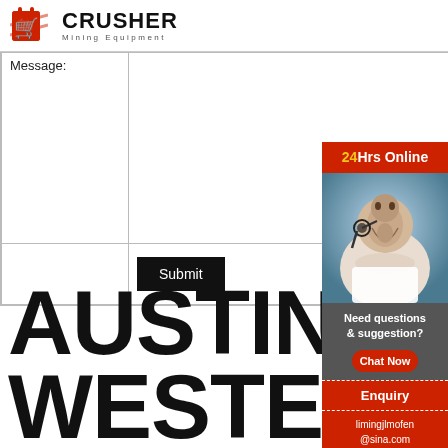[Figure (logo): Crusher Mining Equipment logo with red shopping bag icon and bold CRUSHER text]
| Message: |  |
|  | Submit |
AUSTIN WESTERN CRUSHER JA 1024
[Figure (infographic): 24Hrs Online sidebar with agent photo, Need questions & suggestion?, Chat Now button, Enquiry, limingjlmofen@sina.com]